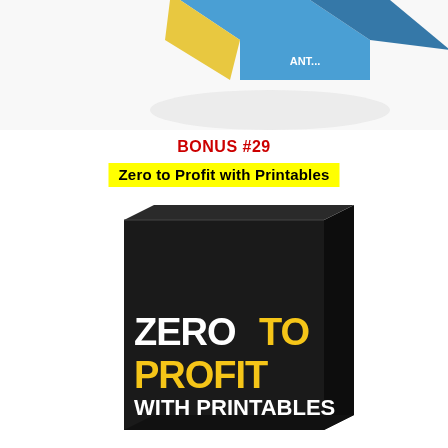[Figure (illustration): Top portion of a 3D box product graphic, partially cropped at the top of the page, showing colorful box shapes on white background]
BONUS #29
Zero to Profit with Printables
[Figure (illustration): 3D product box with black finish, white and yellow bold text reading ZERO TO PROFIT WITH PRINTABLES]